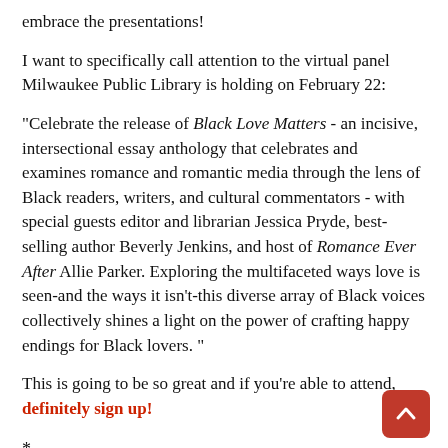embrace the presentations!
I want to specifically call attention to the virtual panel Milwaukee Public Library is holding on February 22:
"Celebrate the release of Black Love Matters - an incisive, intersectional essay anthology that celebrates and examines romance and romantic media through the lens of Black readers, writers, and cultural commentators - with special guests editor and librarian Jessica Pryde, best-selling author Beverly Jenkins, and host of Romance Ever After Allie Parker. Exploring the multifaceted ways love is seen-and the ways it isn't-this diverse array of Black voices collectively shines a light on the power of crafting happy endings for Black lovers. "
This is going to be so great and if you're able to attend, definitely sign up!
*
This post contains affiliate links.